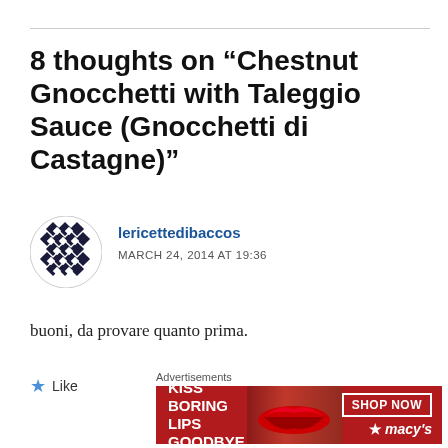8 thoughts on “Chestnut Gnocchetti with Taleggio Sauce (Gnocchetti di Castagne)”
[Figure (illustration): Diamond/geometric pattern avatar icon in black and white]
lericettedibaccos
MARCH 24, 2014 AT 19:36
buoni, da provare quanto prima.
Like
Advertisements
[Figure (photo): Macy's advertisement banner: KISS BORING LIPS GOODBYE with SHOP NOW button and Macy's star logo, red background with woman's lips image]